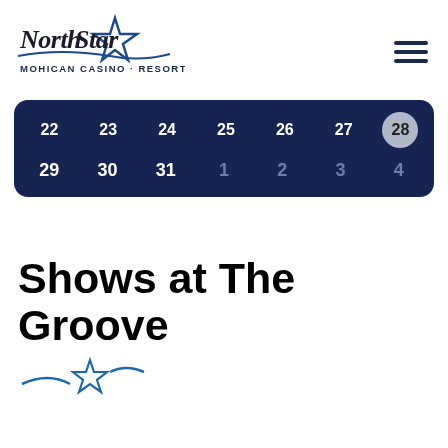[Figure (logo): North Star Mohican Casino Resort logo with star graphic and cursive/sans text]
[Figure (other): Hamburger menu icon (three horizontal lines)]
[Figure (other): Calendar strip showing two rows of dates: 22,23,24,25,26,27,28(selected) and 29,30,31,1,2,3,4]
Shows at The Groove
[Figure (illustration): Small decorative star and wave graphic in blue]